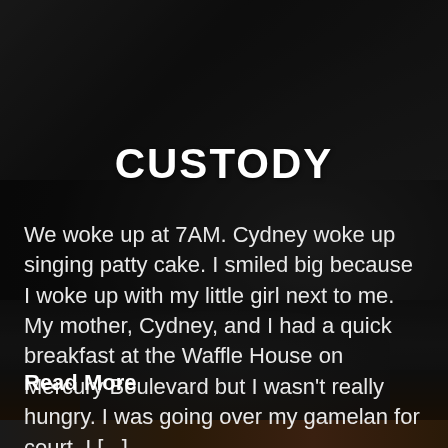[Figure (photo): Dark background photo of a child in a car seat, dimly lit interior scene]
CUSTODY
We woke up at 7AM. Cydney woke up singing patty cake. I smiled big because I woke up with my little girl next to me. My mother, Cydney, and I had a quick breakfast at the Waffle House on Mercury Boulevard but I wasn't really hungry. I was going over my gamelan for court. I [...]
Read More